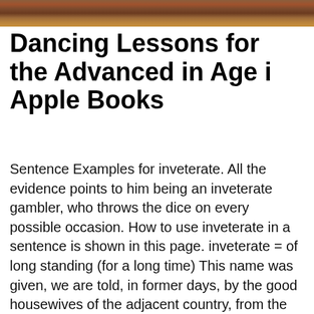[Figure (photo): Warm-toned photograph strip at the top of the page, showing an earthy brown/amber colored scene, likely an outdoor or rustic setting.]
Dancing Lessons for the Advanced in Age i Apple Books
Sentence Examples for inveterate. All the evidence points to him being an inveterate gambler, who throws the dice on every possible occasion. How to use inveterate in a sentence is shown in this page. inveterate = of long standing (for a long time) This name was given, we are told, in former days, by the good housewives of the adjacent country, from the inveterate propensity of their husbands to linger about the village tavern on market days. Washington Irving -- The Legend of Sleepy Hollow inveterate = habitual; or something of long standing inveterate in a sentence - Use "inveterate" in a